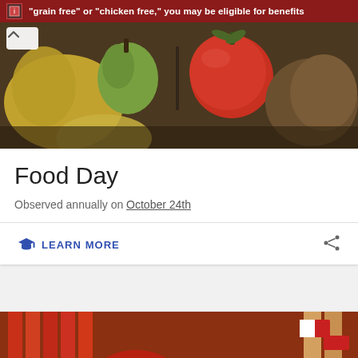"grain free" or "chicken free," you may be eligible for benefits
[Figure (photo): Close-up photo of assorted fruits and vegetables including tomatoes, pears, and other produce]
Food Day
Observed annually on October 24th
LEARN MORE
[Figure (photo): Photo of various sausages and cured meats hanging at a market stall with price tags]